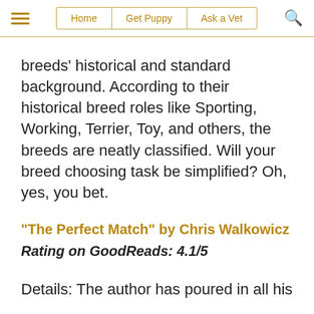Home | Get Puppy | Ask a Vet
breeds' historical and standard background. According to their historical breed roles like Sporting, Working, Terrier, Toy, and others, the breeds are neatly classified. Will your breed choosing task be simplified? Oh, yes, you bet.
"The Perfect Match" by Chris Walkowicz
Rating on GoodReads: 4.1/5
Details: The author has poured in all his